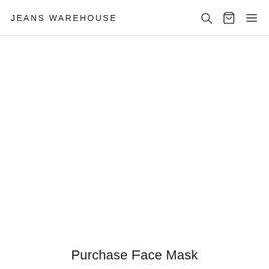JEANS WAREHOUSE
Purchase Face Mask